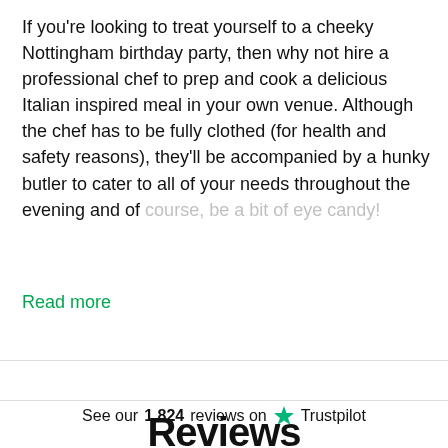If you're looking to treat yourself to a cheeky Nottingham birthday party, then why not hire a professional chef to prep and cook a delicious Italian inspired meal in your own venue. Although the chef has to be fully clothed (for health and safety reasons), they'll be accompanied by a hunky butler to cater to all of your needs throughout the evening and of course, be a bit of eye candy!
Read more
See our 1,824 reviews on Trustpilot
Reviews